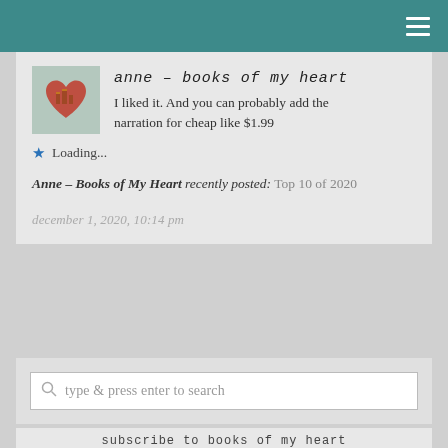anne – books of my heart
I liked it. And you can probably add the narration for cheap like $1.99
★ Loading...
Anne – Books of My Heart recently posted: Top 10 of 2020
december 1, 2020, 10:14 pm
type & press enter to search
subscribe to books of my heart